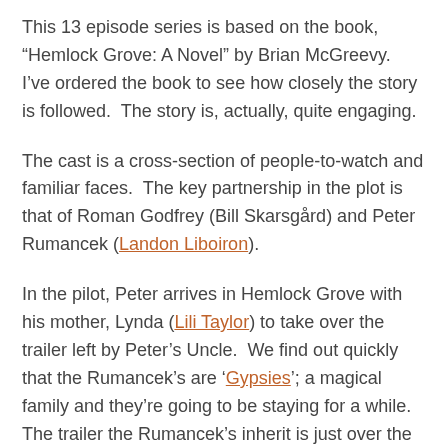This 13 episode series is based on the book, “Hemlock Grove: A Novel” by Brian McGreevy.  I’ve ordered the book to see how closely the story is followed.  The story is, actually, quite engaging.
The cast is a cross-section of people-to-watch and familiar faces.  The key partnership in the plot is that of Roman Godfrey (Bill Skarsgård) and Peter Rumancek (Landon Liboiron).
In the pilot, Peter arrives in Hemlock Grove with his mother, Lynda (Lili Taylor) to take over the trailer left by Peter’s Uncle.  We find out quickly that the Rumancek’s are ‘Gypsies’; a magical family and they’re going to be staying for a while.  The trailer the Rumancek’s inherit is just over the property line from the Godfrey’s mansion.
Peter and Roman become friends in the aftermath of a